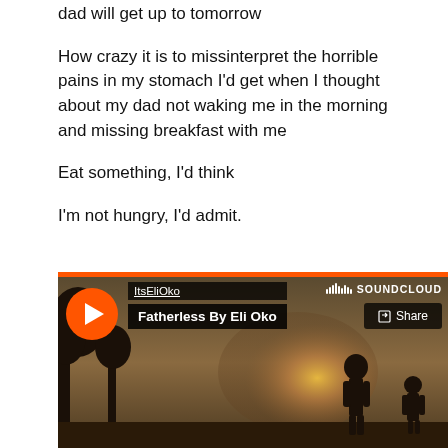dad will get up to tomorrow
How crazy it is to missinterpret the horrible pains in my stomach I'd get when I thought about my dad not waking me in the morning and missing breakfast with me
Eat something, I'd think
I'm not hungry, I'd admit.
[Figure (screenshot): SoundCloud embedded audio player showing track 'Fatherless By Eli Oko' by ItsEliOko. Orange play button on left, SoundCloud logo top right, Share button top right. Background image shows a silhouette of a person against a sunset/sunrise sky.]